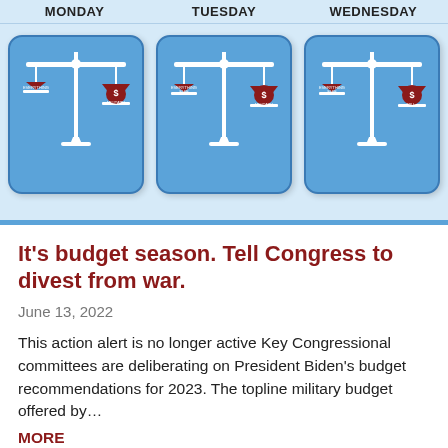[Figure (illustration): Three-column calendar-style infographic showing MONDAY, TUESDAY, WEDNESDAY columns, each with a blue rounded card containing a scales of justice illustration with red money bag labeled MILITARY outweighing a smaller bag labeled EVERYTHING ELSE.]
It’s budget season. Tell Congress to divest from war.
June 13, 2022
This action alert is no longer active Key Congressional committees are deliberating on President Biden’s budget recommendations for 2023. The topline military budget offered by…
MORE
[Figure (photo): Bottom partial image, gray-blue gradient, partially visible photograph.]